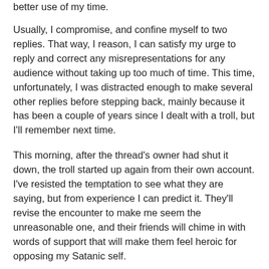better use of my time.
Usually, I compromise, and confine myself to two replies. That way, I reason, I can satisfy my urge to reply and correct any misrepresentations for any audience without taking up too much of time. This time, unfortunately, I was distracted enough to make several other replies before stepping back, mainly because it has been a couple of years since I dealt with a troll, but I'll remember next time.
This morning, after the thread's owner had shut it down, the troll started up again from their own account. I've resisted the temptation to see what they are saying, but from experience I can predict it. They'll revise the encounter to make me seem the unreasonable one, and their friends will chime in with words of support that will make them feel heroic for opposing my Satanic self.